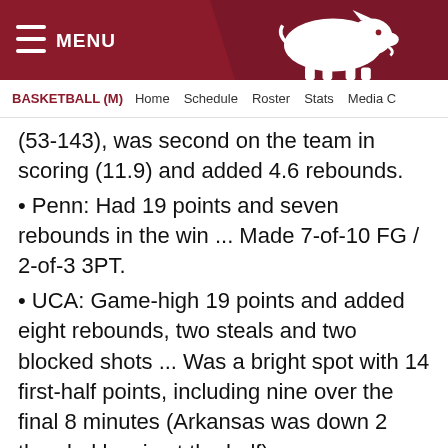MENU | Arkansas Razorbacks Logo | Navigation bar
BASKETBALL (M)   Home   Schedule   Roster   Stats   Media C
(53-143), was second on the team in scoring (11.9) and added 4.6 rebounds.
• Penn: Had 19 points and seven rebounds in the win ... Made 7-of-10 FG / 2-of-3 3PT.
• UCA: Game-high 19 points and added eight rebounds, two steals and two blocked shots ... Was a bright spot with 14 first-half points, including nine over the final 8 minutes (Arkansas was down 2 then led by six at the half).
• @ Miss State: Had a team-best 19 points (7-of-12 FG and 2-of-4 3PT).